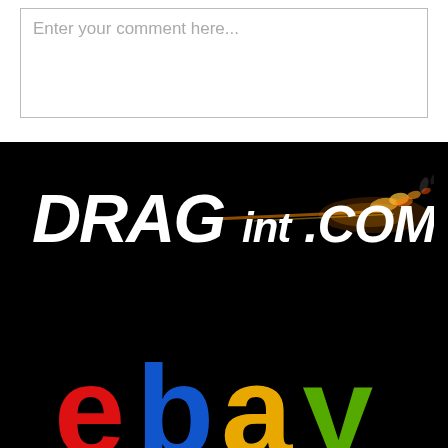Enter your comment here...
[Figure (logo): DRAGint.com logo in white italic bold text with flame/fire effect trailing from the right side, on black background]
[Figure (logo): eBay logo in multicolor letters (red e, blue b, yellow a, green y) on black background, partially cropped at bottom]